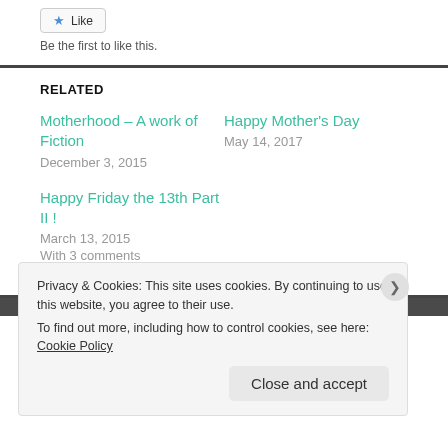Like
Be the first to like this.
RELATED
Motherhood – A work of Fiction
December 3, 2015
Happy Mother's Day
May 14, 2017
Happy Friday the 13th Part II !
March 13, 2015
With 3 comments
Privacy & Cookies: This site uses cookies. By continuing to use this website, you agree to their use.
To find out more, including how to control cookies, see here: Cookie Policy
Close and accept